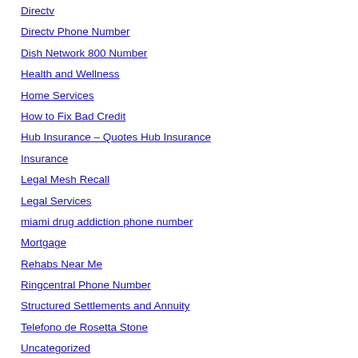Directv
Directv Phone Number
Dish Network 800 Number
Health and Wellness
Home Services
How to Fix Bad Credit
Hub Insurance – Quotes Hub Insurance
Insurance
Legal Mesh Recall
Legal Services
miami drug addiction phone number
Mortgage
Rehabs Near Me
Ringcentral Phone Number
Structured Settlements and Annuity
Telefono de Rosetta Stone
Uncategorized
Xarelto